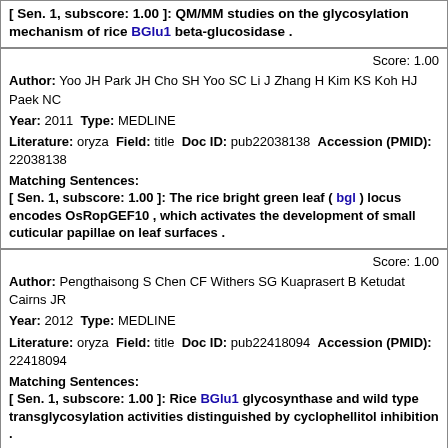[ Sen. 1, subscore: 1.00 ]: QM/MM studies on the glycosylation mechanism of rice BGlu1 beta-glucosidase .
Score: 1.00
Author: Yoo JH Park JH Cho SH Yoo SC Li J Zhang H Kim KS Koh HJ Paek NC
Year: 2011 Type: MEDLINE
Literature: oryza Field: title Doc ID: pub22038138 Accession (PMID): 22038138
Matching Sentences:
[ Sen. 1, subscore: 1.00 ]: The rice bright green leaf ( bgl ) locus encodes OsRopGEF10 , which activates the development of small cuticular papillae on leaf surfaces .
Score: 1.00
Author: Pengthaisong S Chen CF Withers SG Kuaprasert B Ketudat Cairns JR
Year: 2012 Type: MEDLINE
Literature: oryza Field: title Doc ID: pub22418094 Accession (PMID): 22418094
Matching Sentences:
[ Sen. 1, subscore: 1.00 ]: Rice BGlu1 glycosynthase and wild type transglycosylation activities distinguished by cyclophellitol inhibition .
© Textpresso Fri Sep 2 02:32:18 2022 . All rights reserved.